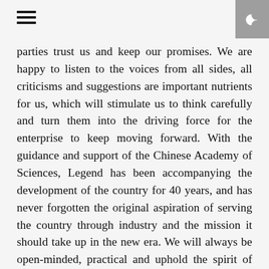[hamburger menu icon] [dark mode toggle]
parties trust us and keep our promises. We are happy to listen to the voices from all sides, all criticisms and suggestions are important nutrients for us, which will stimulate us to think carefully and turn them into the driving force for the enterprise to keep moving forward. With the guidance and support of the Chinese Academy of Sciences, Legend has been accompanying the development of the country for 40 years, and has never forgotten the original aspiration of serving the country through industry and the mission it should take up in the new era. We will always be open-minded, practical and uphold the spirit of entrepreneurship. We will always be closely connected with the fate of the country and the well-being of the people, and walk in the same direction with the development of the times and the expectations of the society. Through making every effort to move forward with courage and perseverance, we will make a more positive contribution to the new era with substantial achievements on the new journey in the future.